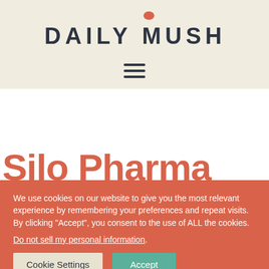DAILY MUSHROOM
[Figure (logo): Daily Mushroom logo with orange/terracotta dot above the letter U in MUSHROOM, bold dark uppercase text on beige background]
[Figure (other): Hamburger menu icon (three horizontal lines)]
Silo Pharma
We use cookies on our website to give you the most relevant experience by remembering your preferences and repeat visits. By clicking "Accept", you consent to the use of ALL the cookies.
Do not sell my personal information.